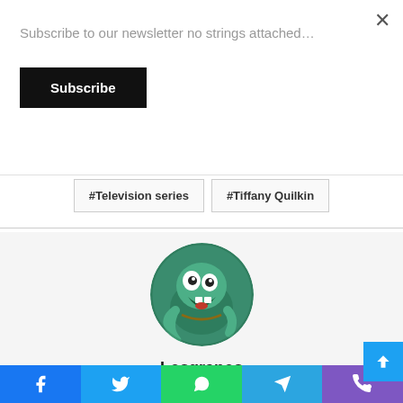Subscribe to our newsletter no strings attached…
Subscribe
#Gena Kremsky
#Cirazza
#Television series
#Tiffany Quilkin
[Figure (photo): Circular avatar image of a green clay cartoon monster character with big eyes and an open mouth]
Losgranos